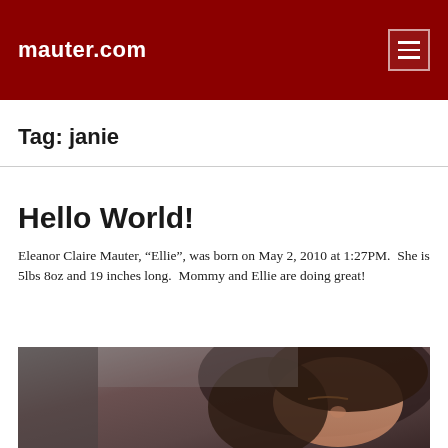mauter.com
Tag: janie
Hello World!
Eleanor Claire Mauter, “Ellie”, was born on May 2, 2010 at 1:27PM.  She is 5lbs 8oz and 19 inches long.  Mommy and Ellie are doing great!
[Figure (photo): A woman with dark hair reclining, eyes closed, photographed from a slight angle. Appears to be in a medical or hospital setting.]